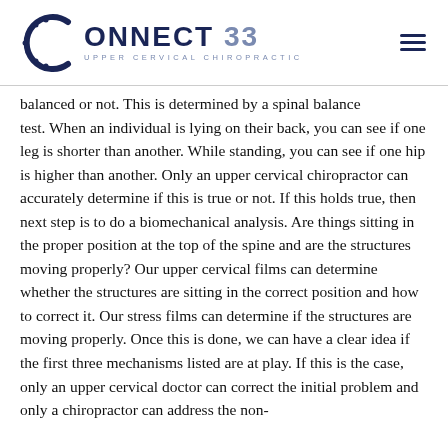CONNECT 33 UPPER CERVICAL CHIROPRACTIC
balanced or not. This is determined by a spinal balance test. When an individual is lying on their back, you can see if one leg is shorter than another. While standing, you can see if one hip is higher than another. Only an upper cervical chiropractor can accurately determine if this is true or not. If this holds true, then next step is to do a biomechanical analysis. Are things sitting in the proper position at the top of the spine and are the structures moving properly? Our upper cervical films can determine whether the structures are sitting in the correct position and how to correct it. Our stress films can determine if the structures are moving properly. Once this is done, we can have a clear idea if the first three mechanisms listed are at play. If this is the case, only an upper cervical doctor can correct the initial problem and only a chiropractor can address the non-